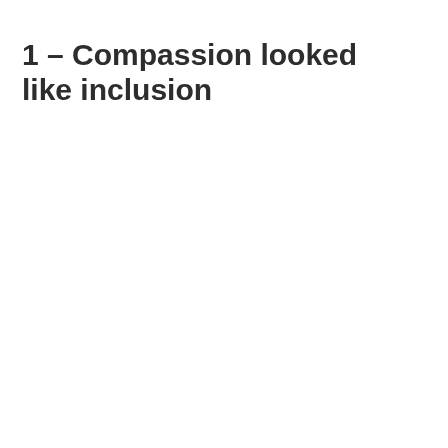1 – Compassion looked like inclusion